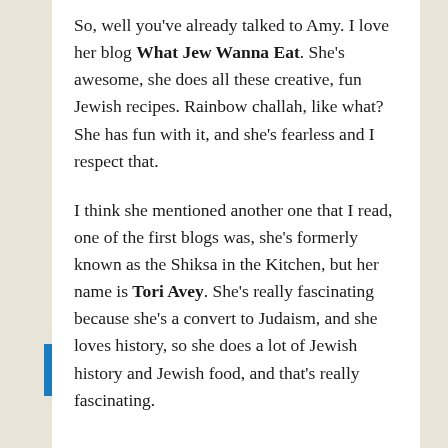So, well you've already talked to Amy. I love her blog What Jew Wanna Eat. She's awesome, she does all these creative, fun Jewish recipes. Rainbow challah, like what? She has fun with it, and she's fearless and I respect that.
I think she mentioned another one that I read, one of the first blogs was, she's formerly known as the Shiksa in the Kitchen, but her name is Tori Avey. She's really fascinating because she's a convert to Judaism, and she loves history, so she does a lot of Jewish history and Jewish food, and that's really fascinating.